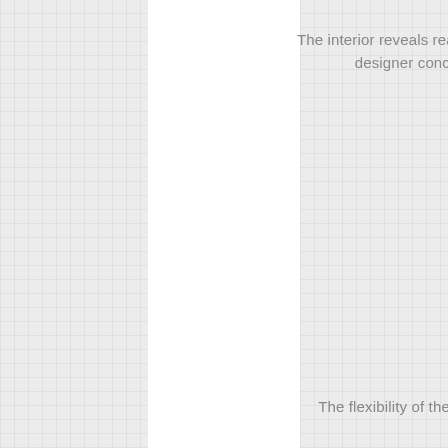The interior reveals really original and creative designer conceptual thinking.
The flexibility of the objects in the office.